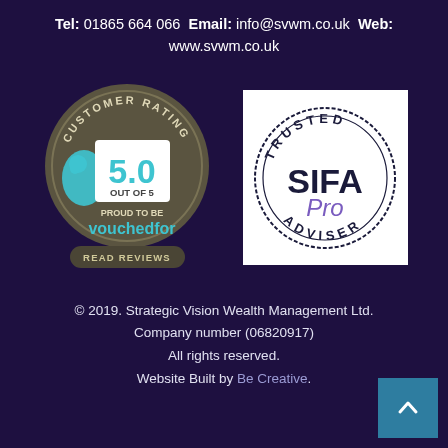Tel: 01865 664 066 Email: info@svwm.co.uk Web: www.svwm.co.uk
[Figure (logo): VouchedFor Customer Rating 5.0 out of 5 badge with 'Proud to be vouchedfor' and 'Read Reviews' button]
[Figure (logo): SIFA Pro Trusted Adviser circular logo on white background]
© 2019. Strategic Vision Wealth Management Ltd. Company number (06820917) All rights reserved. Website Built by Be Creative.
[Figure (other): Scroll-to-top arrow button in teal/blue square]